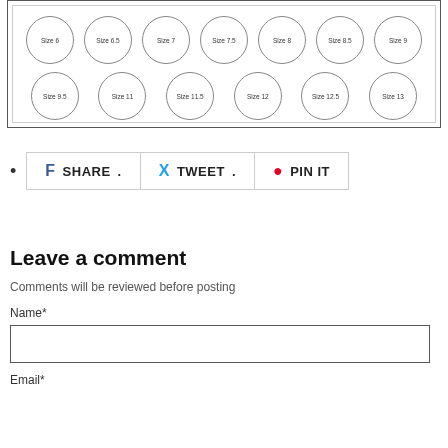[Figure (illustration): A grid of shoe size circles arranged in two rows. Row 1: Size 6, Size 6.5, Size 7, Size 7.5, Size 8, Size 8.5, Size 9. Row 2: Size 9.5, Size 11, Size 11.5, Size 12, Size 12.5, Size 13.]
SHARE. TWEET. PIN IT
Leave a comment
Comments will be reviewed before posting
Name*
Email*